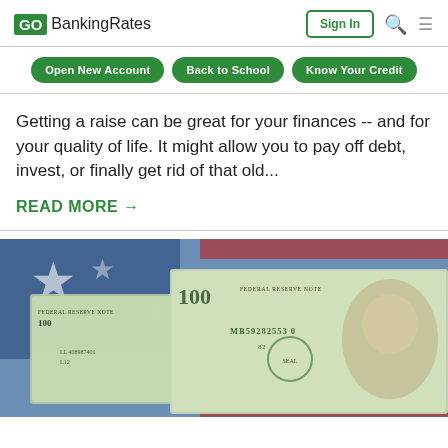GO BankingRates | Sign In
Open New Account | Back to School | Know Your Credit
Getting a raise can be great for your finances -- and for your quality of life. It might allow you to pay off debt, invest, or finally get rid of that old...
READ MORE →
[Figure (photo): Close-up photo of $100 US dollar bills overlapping an American flag, showing Benjamin Franklin's portrait and serial number MB59282553 0 on the Federal Reserve Note.]